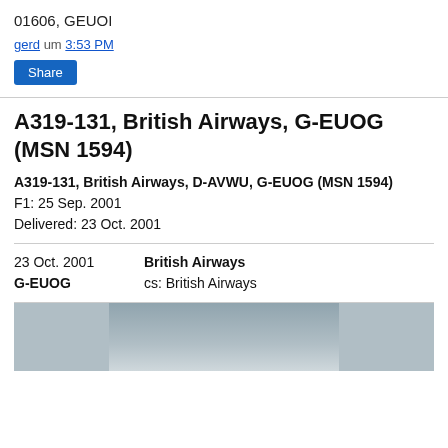01606, GEUOI
gerd um 3:53 PM
Share
A319-131, British Airways, G-EUOG (MSN 1594)
A319-131, British Airways, D-AVWU, G-EUOG (MSN 1594)
F1: 25 Sep. 2001
Delivered: 23 Oct. 2001
23 Oct. 2001   British Airways
G-EUOG   cs: British Airways
[Figure (photo): Partial view of a British Airways A319 aircraft on the ground, grey sky background]